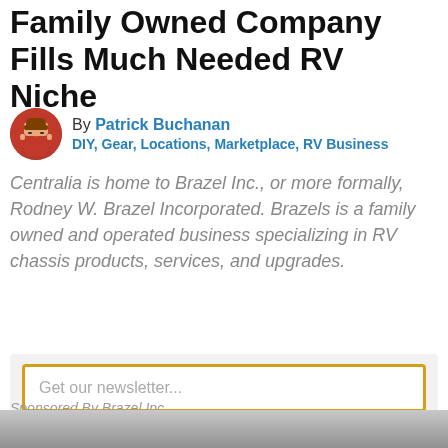Family Owned Company Fills Much Needed RV Niche
By Patrick Buchanan
DIY, Gear, Locations, Marketplace, RV Business
Centralia is home to Brazel Inc., or more formally, Rodney W. Brazel Incorporated. Brazels is a family owned and operated business specializing in RV chassis products, services, and upgrades.
Get our newsletter...
YES, SIGN ME UP!
Sponsored By Brazel Inc.
[Figure (photo): Photo strip at bottom of page showing a partial outdoor/vehicle scene]